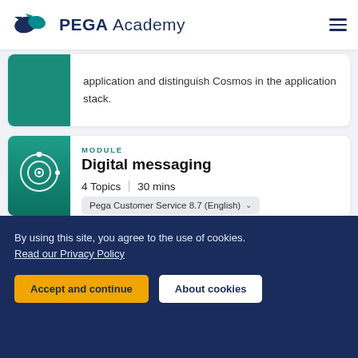PEGA Academy
application and distinguish Cosmos in the application stack.
MODULE
Digital messaging
4 Topics  |  30 mins
Pega Customer Service 8.7 (English)
Visible to all users
Pega Customer Service offers chat and
By using this site, you agree to the use of cookies.
Read our Privacy Policy
Accept and continue
About cookies